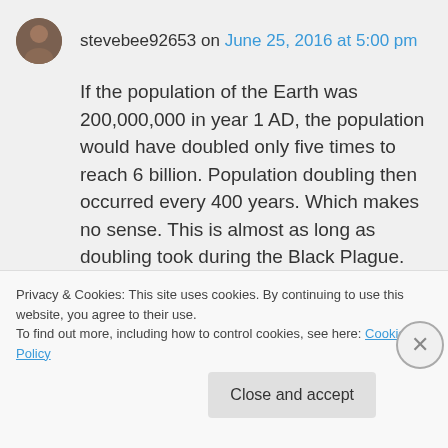stevebee92653 on June 25, 2016 at 5:00 pm
If the population of the Earth was 200,000,000 in year 1 AD, the population would have doubled only five times to reach 6 billion. Population doubling then occurred every 400 years. Which makes no sense. This is almost as long as doubling took during the Black Plague. (450 years) During the 20th century, the population doubled twice. Population doubling
Privacy & Cookies: This site uses cookies. By continuing to use this website, you agree to their use.
To find out more, including how to control cookies, see here: Cookie Policy
Close and accept